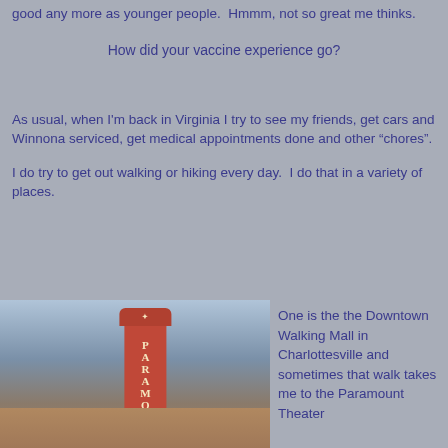good any more as younger people.  Hmmm, not so great me thinks.
How did your vaccine experience go?
As usual, when I'm back in Virginia I try to see my friends, get cars and Winnona serviced, get medical appointments done and other “chores”.
I do try to get out walking or hiking every day.  I do that in a variety of places.
[Figure (photo): Photo of the Paramount Theater sign in Charlottesville, Virginia, showing the vertical marquee sign with 'PARAMO' visible, against a light blue sky with bare tree branches.]
One is the the Downtown Walking Mall in Charlottesville and sometimes that walk takes me to the Paramount Theater